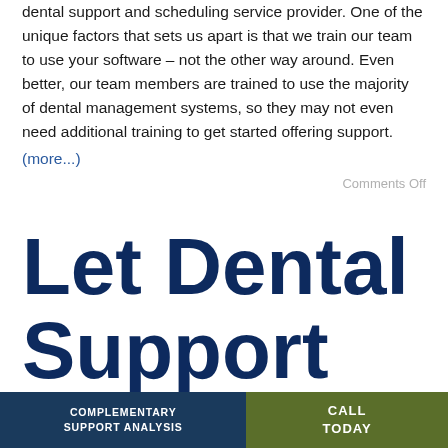dental support and scheduling service provider. One of the unique factors that sets us apart is that we train our team to use your software – not the other way around. Even better, our team members are trained to use the majority of dental management systems, so they may not even need additional training to get started offering support.
(more...)
Comments Off
Let Dental Support
COMPLEMENTARY SUPPORT ANALYSIS | CALL TODAY